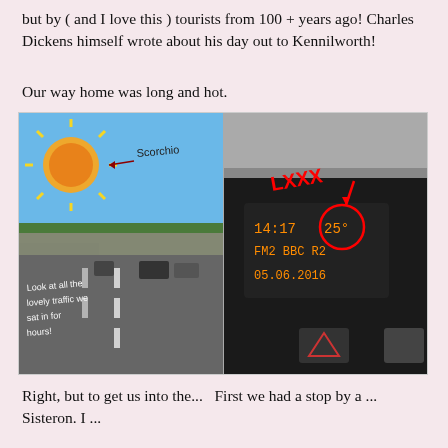but by ( and I love this ) tourists from 100 + years ago! Charles Dickens himself wrote about his day out to Kennilworth!
Our way home was long and hot.
[Figure (photo): Two side-by-side photos with handwritten annotations. Left photo: a motorway with heavy traffic and a bridge overhead, with a cartoon sun drawn on top labelled 'Scorchio' and text 'Look at all the lovely traffic we sat in for hours!'. Right photo: a car dashboard display showing time 14:17, temperature 25°C circled in red, FM2 BBC R2, date 05.06.2016, with red arrow and 'LXXX' annotation pointing to the temperature.]
Right, but to get us into the...   First we had a stop by a ... Sisteron. I ...